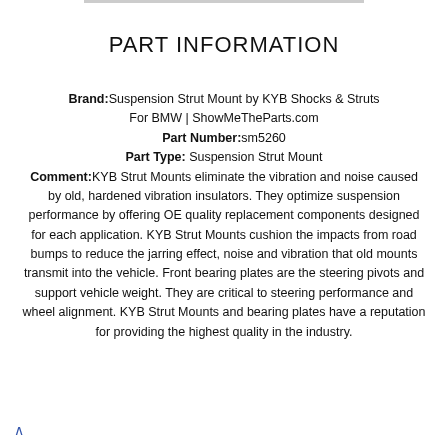PART INFORMATION
Brand: Suspension Strut Mount by KYB Shocks & Struts For BMW | ShowMeTheParts.com
Part Number: sm5260
Part Type: Suspension Strut Mount
Comment: KYB Strut Mounts eliminate the vibration and noise caused by old, hardened vibration insulators. They optimize suspension performance by offering OE quality replacement components designed for each application. KYB Strut Mounts cushion the impacts from road bumps to reduce the jarring effect, noise and vibration that old mounts transmit into the vehicle. Front bearing plates are the steering pivots and support vehicle weight. They are critical to steering performance and wheel alignment. KYB Strut Mounts and bearing plates have a reputation for providing the highest quality in the industry.